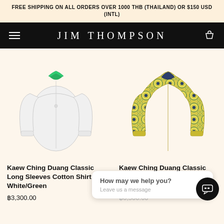FREE SHIPPING ON ALL ORDERS OVER 1000 THB (THAILAND) OR $150 USD (INTL)
JIM THOMPSON
[Figure (photo): White long sleeve cotton shirt with green floral collar detail, displayed flat on cream background]
Kaew Ching Duang Classic Long Sleeves Cotton Shirt - White/Green
฿3,300.00
[Figure (photo): Yellow patterned silk long sleeve shirt with circular floral motif design, displayed flat on cream background]
Kaew Ching Duang Classic Long Sleeves Silk Shirt - Yellow
฿6,500.00
How may we help you? Leave us a message